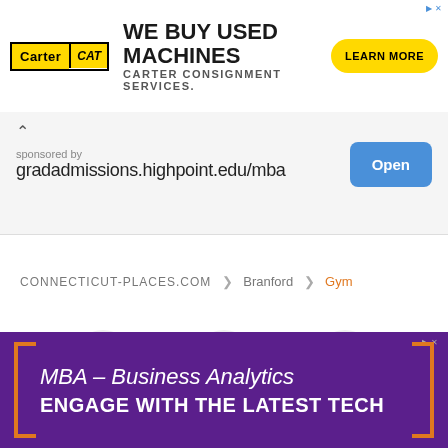[Figure (screenshot): Carter CAT advertisement banner: WE BUY USED MACHINES - CARTER CONSIGNMENT SERVICES. with LEARN MORE button]
[Figure (screenshot): Sponsored ad bar with chevron up, 'sponsored by gradadmissions.highpoint.edu/mba' and Open button]
CONNECTICUT-PLACES.COM > Branford > Gym
[Figure (infographic): Social media sharing icons: Facebook (f), Twitter (bird), LinkedIn (in), each in a light gray circle]
[Figure (screenshot): MBA – Business Analytics ENGAGE WITH THE LATEST TECH purple advertisement banner]